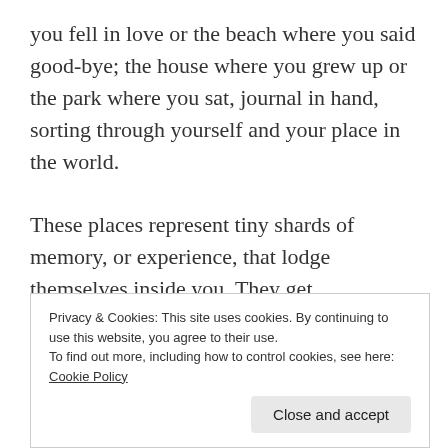you fell in love or the beach where you said good-bye; the house where you grew up or the park where you sat, journal in hand, sorting through yourself and your place in the world.

These places represent tiny shards of memory, or experience, that lodge themselves inside you. They get internalized, and through that process, become resonant, like tiny bells only you can hear. The associations with that place might be happy, sad or complicated, but they become a part of you, and they tend to draw you back.
Privacy & Cookies: This site uses cookies. By continuing to use this website, you agree to their use.
To find out more, including how to control cookies, see here: Cookie Policy
Close and accept